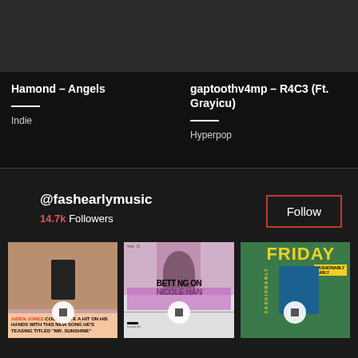[Figure (photo): Album art thumbnail - dark/gray image for Hamond Angels]
Hamond – Angels
Indie
[Figure (photo): Album art thumbnail - dark/gray image for gaptoothv4mp R4C3]
gaptoothv4mp – R4C3 (Ft. Grayicu)
Hyperpop
@fashearlymusic
14.7k Followers
Follow
[Figure (photo): Post thumbnail 1 - Aiden Jones Mr. Sunshine article]
[Figure (photo): Post thumbnail 2 - Betting on Nicole Han]
[Figure (photo): Post thumbnail 3 - Fashionably Friday cover]